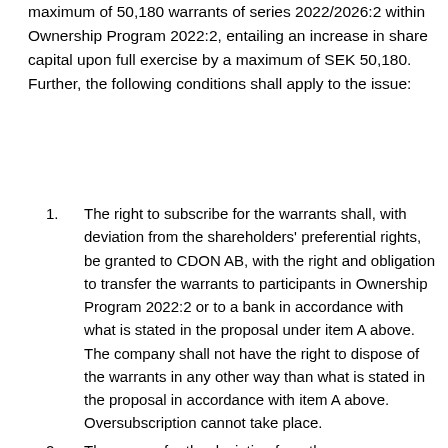maximum of 50,180 warrants of series 2022/2026:2 within Ownership Program 2022:2, entailing an increase in share capital upon full exercise by a maximum of SEK 50,180. Further, the following conditions shall apply to the issue:
1. The right to subscribe for the warrants shall, with deviation from the shareholders' preferential rights, be granted to CDON AB, with the right and obligation to transfer the warrants to participants in Ownership Program 2022:2 or to a bank in accordance with what is stated in the proposal under item A above. The company shall not have the right to dispose of the warrants in any other way than what is stated in the proposal in accordance with item A above. Oversubscription cannot take place.
2. The reason for the deviation from the